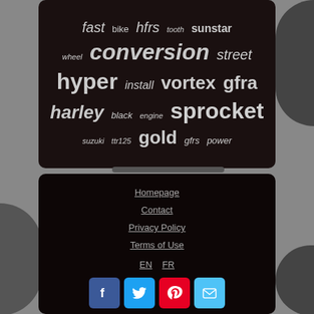[Figure (other): Tag cloud on dark panel with motorcycle/sprocket related keywords: fast, bike, hfrs, tooth, sunstar, wheel, conversion, street, hyper, install, vortex, gfra, harley, black, engine, sprocket, suzuki, ttr125, gold, gfrs, power]
[Figure (other): Website footer panel on dark background with navigation links: Homepage, Contact, Privacy Policy, Terms of Use, language selectors EN and FR, and social media buttons for Facebook, Twitter, Pinterest, and Email]